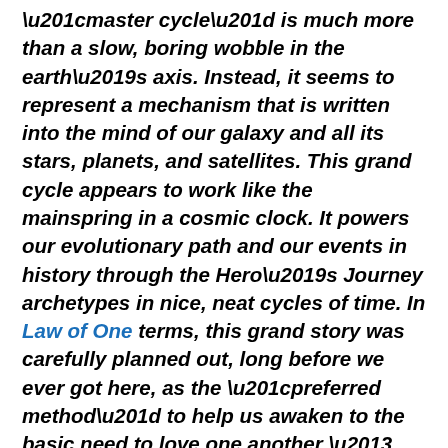“master cycle” is much more than a slow, boring wobble in the earth’s axis. Instead, it seems to represent a mechanism that is written into the mind of our galaxy and all its stars, planets, and satellites. This grand cycle appears to work like the mainspring in a cosmic clock. It powers our evolutionary path and our events in history through the Hero’s Journey archetypes in nice, neat cycles of time. In Law of One terms, this grand story was carefully planned out, long before we ever got here, as the “preferred method” to help us awaken to the basic need to love one another – regardless of race, color, religion, gender, or nationality. We keep repeating the same events and the same atrocities, until we no longer choose to create them. Once we finally decide not to discriminate against one another, and decide to strive